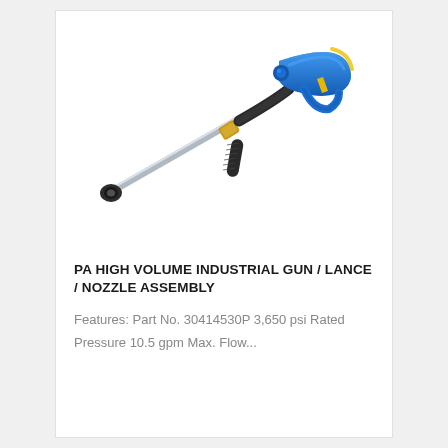[Figure (photo): Industrial pressure washer gun/lance/nozzle assembly with blue ergonomic gun handle, black grip, brass fitting, silver lance, and black nozzle tip.]
PA HIGH VOLUME INDUSTRIAL GUN / LANCE / NOZZLE ASSEMBLY
Features: Part No. 30414530P 3,650 psi Rated Pressure 10.5 gpm Max. Flow...